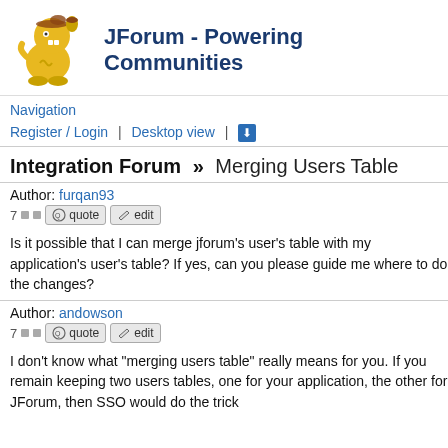[Figure (logo): JForum yellow cartoon mascot character holding an acorn]
JForum - Powering Communities
Navigation
Register / Login  |  Desktop view  |  ⬇
Integration Forum » Merging Users Table
Author: furqan93
7 □ □  quote  edit
Is it possible that I can merge jforum's user's table with my application's user's table? If yes, can you please guide me where to do the changes?
Author: andowson
7 □ □  quote  edit
I don't know what "merging users table" really means for you. If you remain keeping two users tables, one for your application, the other for JForum, then SSO would do the trick